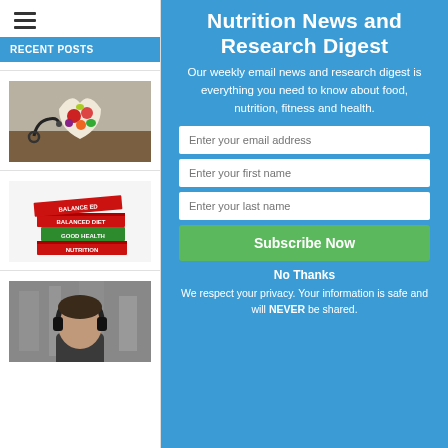[Figure (other): Hamburger menu icon (three horizontal lines)]
RECENT POSTS
[Figure (photo): Heart-shaped bowl with colorful vegetables and fruits, with a stethoscope beside it on a wooden surface]
[Figure (photo): Stack of red and green books labeled 'BALANCED DIET', 'GOOD HEALTH', 'NUTRITION']
[Figure (photo): Person with headphones viewed from behind in a blurred motion background]
Nutrition News and Research Digest
Our weekly email news and research digest is everything you need to know about food, nutrition, fitness and health.
Enter your email address
Enter your first name
Enter your last name
Subscribe Now
No Thanks
We respect your privacy. Your information is safe and will NEVER be shared.